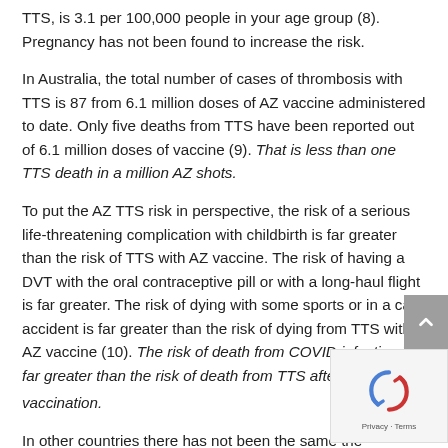TTS, is 3.1 per 100,000 people in your age group (8). Pregnancy has not been found to increase the risk.
In Australia, the total number of cases of thrombosis with TTS is 87 from 6.1 million doses of AZ vaccine administered to date. Only five deaths from TTS have been reported out of 6.1 million doses of vaccine (9). That is less than one TTS death in a million AZ shots.
To put the AZ TTS risk in perspective, the risk of a serious life-threatening complication with childbirth is far greater than the risk of TTS with AZ vaccine. The risk of having a DVT with the oral contraceptive pill or with a long-haul flight is far greater. The risk of dying with some sports or in a car accident is far greater than the risk of dying from TTS with AZ vaccine (10). The risk of death from COVID infection is far greater than the risk of death from TTS after the AZ vaccination.
In other countries there has not been the same the